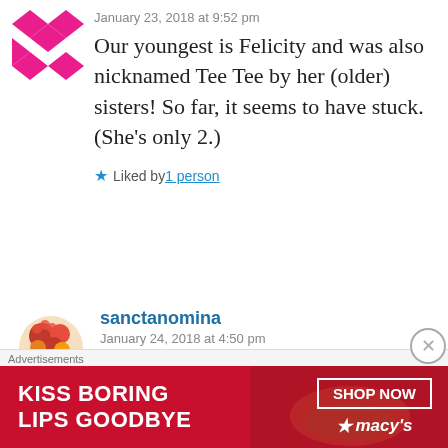[Figure (illustration): Pink pixelated avatar icon made of diamond/square shapes]
January 23, 2018 at 9:52 pm
Our youngest is Felicity and was also nicknamed Tee Tee by her (older) sisters! So far, it seems to have stuck. (She's only 2.)
Liked by 1 person
[Figure (illustration): Floral arrangement avatar with red roses and fruits]
sanctanomina
January 24, 2018 at 4:50 pm
Super cute!
Advertisements
[Figure (other): Macy's advertisement banner: KISS BORING LIPS GOODBYE with SHOP NOW button and Macy's logo]